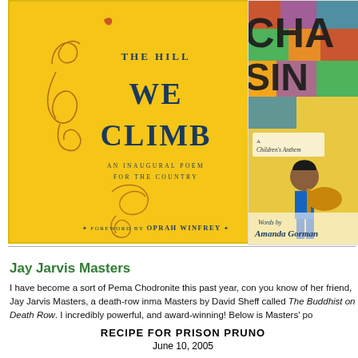[Figure (photo): Book cover of 'The Hill We Climb: An Inaugural Poem for the Country' with foreword by Oprah Winfrey. Yellow background with decorative swirl and bird illustration. Text in dark blue.]
[Figure (photo): Partial view of another book cover by Amanda Gorman, appears to be 'Change Sings: A Children's Anthem' showing colorful mosaic background and child with guitar.]
Jay Jarvis Masters
I have become a sort of Pema Chodronite this past year, con you know of her friend, Jay Jarvis Masters, a death-row inma Masters by David Sheff called The Buddhist on Death Row. I incredibly powerful, and award-winning! Below is Masters' po
RECIPE FOR PRISON PRUNO
June 10, 2005